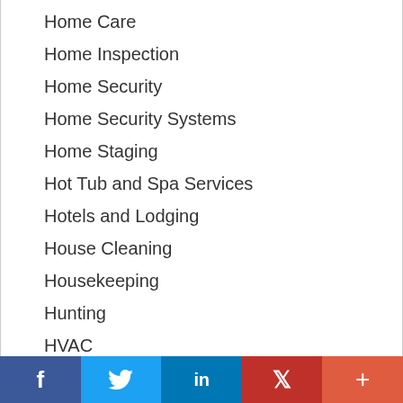Home Care
Home Inspection
Home Security
Home Security Systems
Home Staging
Hot Tub and Spa Services
Hotels and Lodging
House Cleaning
Housekeeping
Hunting
HVAC
Independent Living
Industrial
Inspections